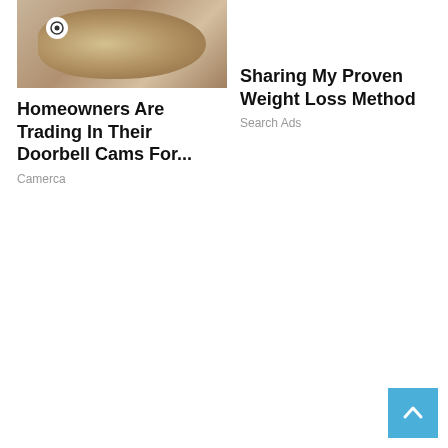[Figure (photo): Photo of bread loaves with a doorbell camera, tan/brown tones]
Homeowners Are Trading In Their Doorbell Cams For...
Camerca
Sharing My Proven Weight Loss Method
Search Ads